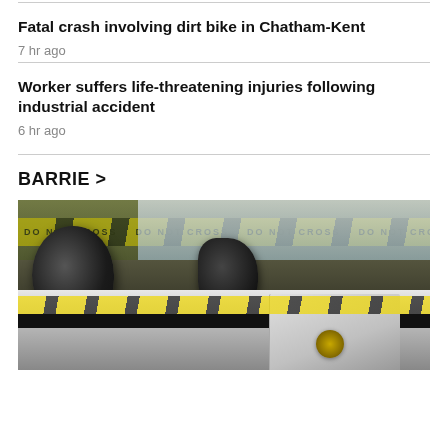Fatal crash involving dirt bike in Chatham-Kent
7 hr ago
Worker suffers life-threatening injuries following industrial accident
6 hr ago
BARRIE >
[Figure (photo): Police vehicle with black side mirror in foreground, yellow crime scene tape in background reading DO NOT CROSS, police car door with emblem visible.]